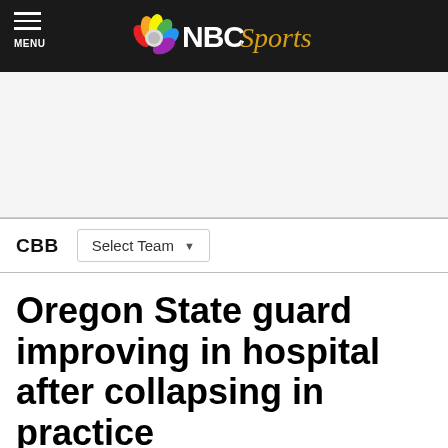NBC Sports
[Figure (logo): NBC Sports logo with peacock icon and NBC Sports text in white and gold]
CBB   Select Team
Oregon State guard improving in hospital after collapsing in practice
By Scott Phillips   Aug 22, 2014, 6:10 PM EDT